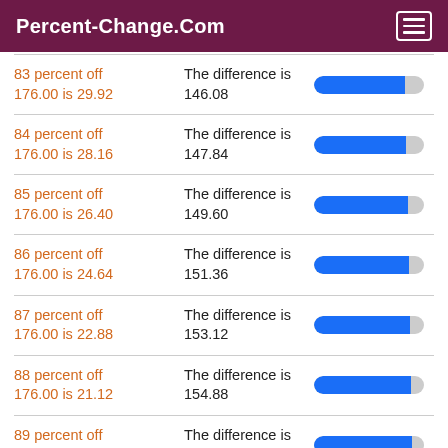Percent-Change.Com
83 percent off 176.00 is 29.92 | The difference is 146.08
84 percent off 176.00 is 28.16 | The difference is 147.84
85 percent off 176.00 is 26.40 | The difference is 149.60
86 percent off 176.00 is 24.64 | The difference is 151.36
87 percent off 176.00 is 22.88 | The difference is 153.12
88 percent off 176.00 is 21.12 | The difference is 154.88
89 percent off 176.00 is 19.36 | The difference is 156.64